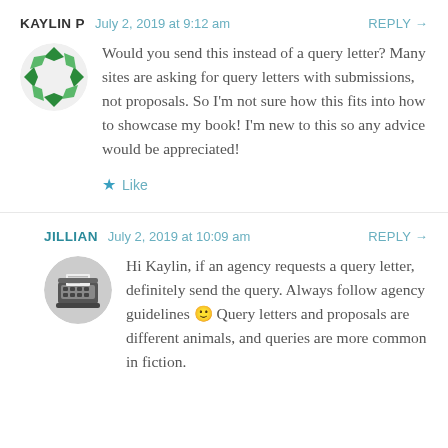KAYLIN P   July 2, 2019 at 9:12 am   REPLY →
[Figure (illustration): Green circular avatar with geometric arrow/chevron pattern for Kaylin P]
Would you send this instead of a query letter? Many sites are asking for query letters with submissions, not proposals. So I'm not sure how this fits into how to showcase my book! I'm new to this so any advice would be appreciated!
★ Like
JILLIAN   July 2, 2019 at 10:09 am   REPLY →
[Figure (photo): Circular avatar showing a vintage typewriter in grayscale for Jillian]
Hi Kaylin, if an agency requests a query letter, definitely send the query. Always follow agency guidelines 🙂 Query letters and proposals are different animals, and queries are more common in fiction.